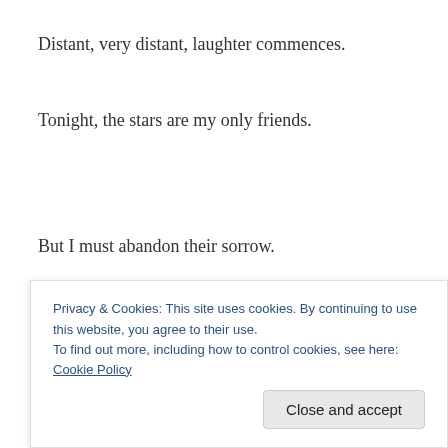Distant, very distant, laughter commences.
Tonight, the stars are my only friends.
But I must abandon their sorrow.
Window, fractured starlight disperses.
In anticipation, like sprinters awaiting the gun.
Privacy & Cookies: This site uses cookies. By continuing to use this website, you agree to their use.
To find out more, including how to control cookies, see here: Cookie Policy
Close and accept